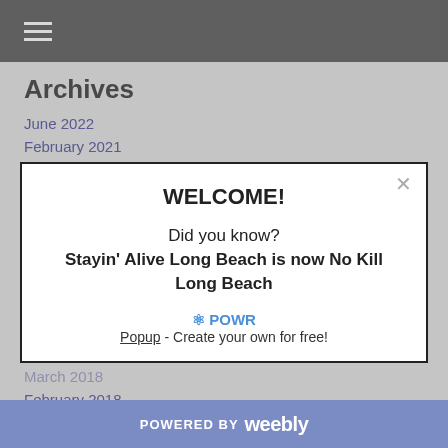☰ (hamburger menu)
Archives
June 2022
February 2021
February 2020
January 2020
November 2019
May 2019
April 2019
December 2018
November 2018
October 2018
August 2018
March 2018
February 2018
January 2018
[Figure (screenshot): Modal popup dialog with title WELCOME! and message: Did you know? Stayin' Alive Long Beach is now No Kill Long Beach. Footer shows POWR Popup - Create your own for free!]
POWERED BY weebly